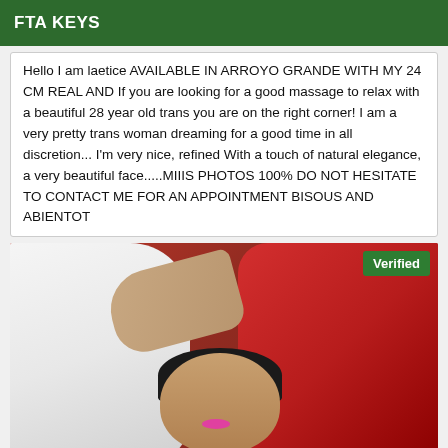FTA KEYS
Hello I am laetice AVAILABLE IN ARROYO GRANDE WITH MY 24 CM REAL AND If you are looking for a good massage to relax with a beautiful 28 year old trans you are on the right corner! I am a very pretty trans woman dreaming for a good time in all discretion... I'm very nice, refined With a touch of natural elegance, a very beautiful face.....MIIIS PHOTOS 100% DO NOT HESITATE TO CONTACT ME FOR AN APPOINTMENT BISOUS AND ABIENTOT
[Figure (photo): Photo of a person lying on a red background, wearing red clothing, with dark hair. A white-shirted arm is visible. A 'Verified' badge appears in the top-right corner of the image.]